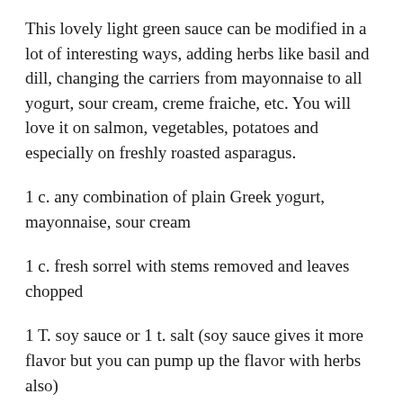This lovely light green sauce can be modified in a lot of interesting ways, adding herbs like basil and dill, changing the carriers from mayonnaise to all yogurt, sour cream, creme fraiche, etc. You will love it on salmon, vegetables, potatoes and especially on freshly roasted asparagus.
1 c. any combination of plain Greek yogurt, mayonnaise, sour cream
1 c. fresh sorrel with stems removed and leaves chopped
1 T. soy sauce or 1 t. salt (soy sauce gives it more flavor but you can pump up the flavor with herbs also)
1 clove garlic, minced